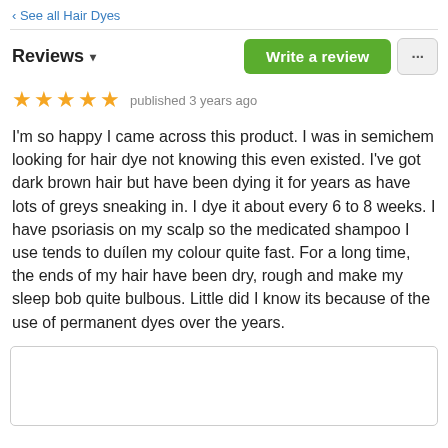‹ See all Hair Dyes
Reviews ▾
★★★★★ published 3 years ago
I'm so happy I came across this product. I was in semichem looking for hair dye not knowing this even existed. I've got dark brown hair but have been dying it for years as have lots of greys sneaking in. I dye it about every 6 to 8 weeks. I have psoriasis on my scalp so the medicated shampoo I use tends to duílen my colour quite fast. For a long time, the ends of my hair have been dry, rough and make my sleep bob quite bulbous. Little did I know its because of the use of permanent dyes over the years.